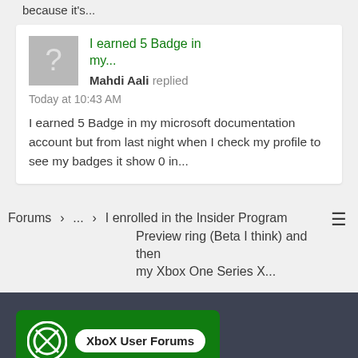because it's...
I earned 5 Badge in my...
Mahdi Aali replied
Today at 10:43 AM
I earned 5 Badge in my microsoft documentation account but from last night when I check my profile to see my badges it show 0 in...
Forums > ... > I enrolled in the Insider Program Preview ring (Beta I think) and then my Xbox One Series X...
[Figure (logo): XboX User Forums logo with Xbox circle icon and magnifying glass on dark green background]
Welcome to the biggest XboX User Forums!